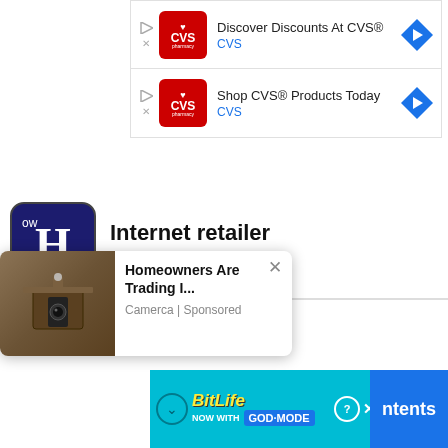[Figure (screenshot): CVS Pharmacy advertisement 1: Discover Discounts At CVS with CVS logo and blue arrow icon]
[Figure (screenshot): CVS Pharmacy advertisement 2: Shop CVS Products Today with CVS logo and blue arrow icon]
[Figure (logo): How logo - dark blue rounded square with white H letter]
Internet retailer
Query   query
[Figure (photo): Outdoor security camera/light fixture on stone wall]
Homeowners Are Trading I...
Camerca | Sponsored
[Figure (screenshot): BitLife NOW WITH GOD MODE advertisement banner on cyan background]